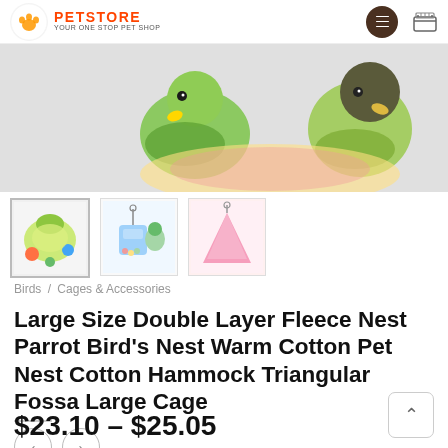PetStore — Your One Stop Pet Shop
[Figure (photo): Close-up product photo of two parrots (green and dark-headed) perched together on a colorful fleece nest/hammock]
[Figure (photo): Three product thumbnail images: yellow fleece nest with parrots, blue feeder/cage accessory with parrots, pink triangular hammock]
Birds / Cages & Accessories
Large Size Double Layer Fleece Nest Parrot Bird's Nest Warm Cotton Pet Nest Cotton Hammock Triangular Fossa Large Cage
$23.10 – $25.05